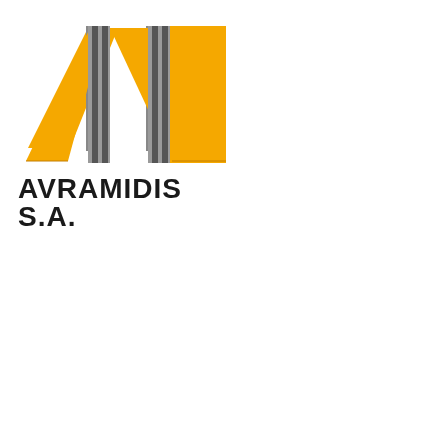[Figure (logo): Avramidis S.A. company logo featuring stylized 'AE' letters in orange/gold with grey vertical bars and the text 'AVRAMIDIS S.A.' in bold black below]